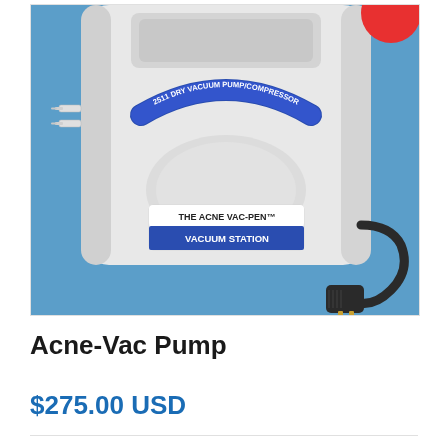[Figure (photo): A white plastic vacuum pump/compressor device labeled '2511 DRY VACUUM PUMP/COMPRESSOR' with a blue arch label, and a white label reading 'THE ACNE VAC-PEN VACUUM STATION'. The device has barbed fittings on the left side and a black power cord with a two-prong plug. Set against a light blue background.]
Acne-Vac Pump
$275.00 USD